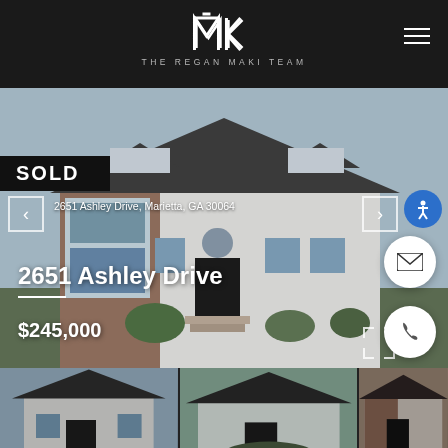THE REGAN MAKI TEAM
[Figure (photo): Exterior photograph of a two-story colonial-style home with white/grey siding, brick accents, and multiple dormers. SOLD badge overlaid.]
SOLD
2651 Ashley Drive, Marietta, GA 30064
2651 Ashley Drive
$245,000
[Figure (photo): Thumbnail strip showing three smaller photos of the property exterior]